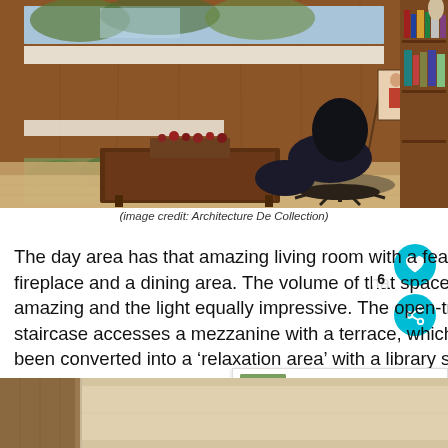[Figure (photo): Interior of a mid-century modern study/living room with wood paneling, large windows, a chess set on a low wooden coffee table, an Eames lounge chair, and a bookshelf along the right wall. A painting on an easel is visible in the background.]
(image credit: Architecture De Collection)
The day area has that amazing living room with a feature fireplace and a dining area. The volume of that space is t amazing and the light equally impressive. The open-tre staircase accesses a mezzanine with a terrace, which been converted into a ‘relaxation area’ with a library space
[Figure (photo): Bottom portion of another interior photograph, partially visible, showing a beige/cream wall and wooden elements.]